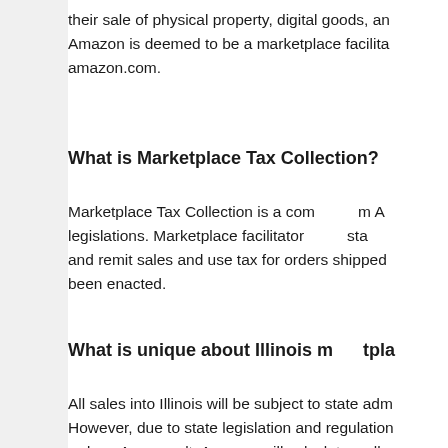their sale of physical property, digital goods, an... Amazon is deemed to be a marketplace facilita... amazon.com.
What is Marketplace Tax Collection?
Marketplace Tax Collection is a com... m A... legislations. Marketplace facilitator ... sta... and remit sales and use tax for orders shipped ... been enacted.
What is unique about Illinois m...tpla...
All sales into Illinois will be subject to state adm... However, due to state legislation and regulation... orders. As a result, Amazon will calculate, colle... tax on all sales destined to Illinois.